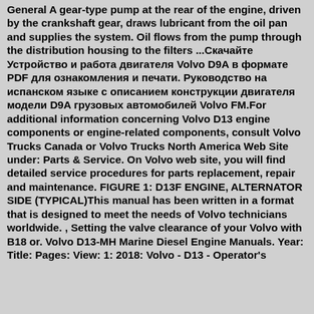General A gear-type pump at the rear of the engine, driven by the crankshaft gear, draws lubricant from the oil pan and supplies the system. Oil flows from the pump through the distribution housing to the filters ...Скачайте Устройство и работа двигателя Volvo D9A в формате PDF для ознакомления и печати. Руководство на испанском языке с описанием конструкции двигателя модели D9A грузовых автомобилей Volvo FM.For additional information concerning Volvo D13 engine components or engine-related components, consult Volvo Trucks Canada or Volvo Trucks North America Web Site under: Parts & Service. On Volvo web site, you will find detailed service procedures for parts replacement, repair and maintenance. FIGURE 1: D13F ENGINE, ALTERNATOR SIDE (TYPICAL)This manual has been written in a format that is designed to meet the needs of Volvo technicians worldwide. , Setting the valve clearance of your Volvo with B18 or. Volvo D13-MH Marine Diesel Engine Manuals. Year: Title: Pages: View: 1: 2018: Volvo - D13 - Operator's